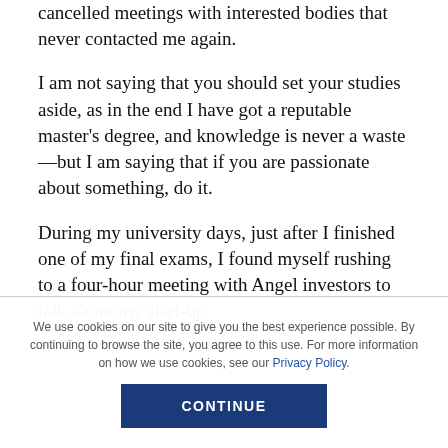cancelled meetings with interested bodies that never contacted me again.
I am not saying that you should set your studies aside, as in the end I have got a reputable master's degree, and knowledge is never a waste—but I am saying that if you are passionate about something, do it.
During my university days, just after I finished one of my final exams, I found myself rushing to a four-hour meeting with Angel investors to talk about my start-up.
We use cookies on our site to give you the best experience possible. By continuing to browse the site, you agree to this use. For more information on how we use cookies, see our Privacy Policy.
CONTINUE